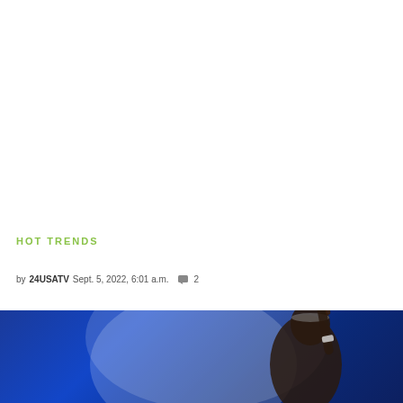HOT TRENDS
by 24USATV  Sept. 5, 2022, 6:01 a.m.  💬 2
[Figure (photo): Tennis player (Coco Gauff) raising one finger on a blue court background at the US Open 2022]